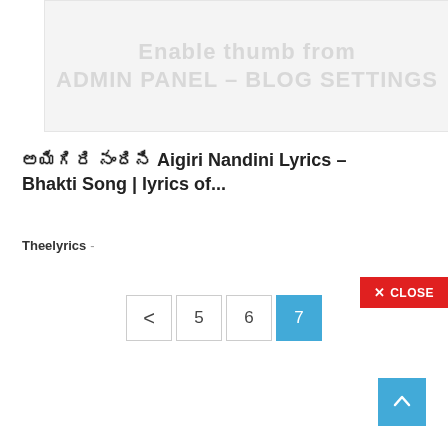[Figure (screenshot): Faded banner/ad placeholder with light gray background and barely visible text]
అయిగిరి నందిని Aigiri Nandini Lyrics – Bhakti Song | lyrics of...
Theelyrics -
0
< 5 6 7
✕ CLOSE